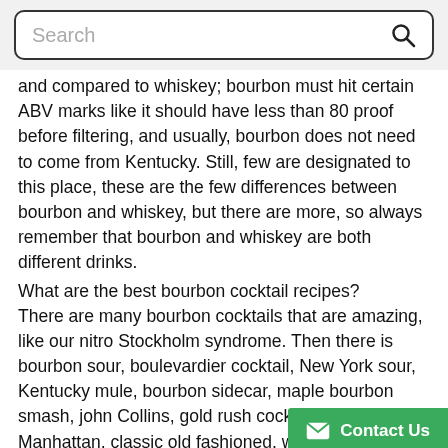Search
and compared to whiskey; bourbon must hit certain ABV marks like it should have less than 80 proof before filtering, and usually, bourbon does not need to come from Kentucky. Still, few are designated to this place, these are the few differences between bourbon and whiskey, but there are more, so always remember that bourbon and whiskey are both different drinks.
What are the best bourbon cocktail recipes?
There are many bourbon cocktails that are amazing, like our nitro Stockholm syndrome. Then there is bourbon sour, boulevardier cocktail, New York sour, Kentucky mule, bourbon sidecar, maple bourbon smash, john Collins, gold rush cocktail, bourbon Manhattan, classic old fashioned, whiskey high ball and blackberry bourbon smash, and many more. You can make all these delicious cocktails with high-end bourbons and affordable bourbons like Evan Williams black label, four roses bourbon, New Riff